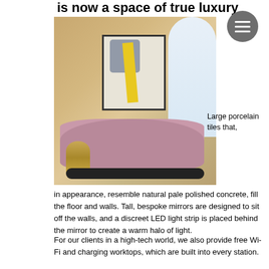is now a space of true luxury
[Figure (photo): Luxury interior with mauve curved sofa, gold side table, abstract painting, arched window, and warm beige porcelain tile walls]
Large porcelain tiles that,
in appearance, resemble natural pale polished concrete, fill the floor and walls. Tall, bespoke mirrors are designed to sit off the walls, and a discreet LED light strip is placed behind the mirror to create a warm halo of light.
For our clients in a high-tech world, we also provide free Wi-Fi and charging worktops, which are built into every station.